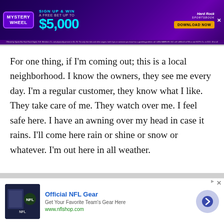[Figure (screenshot): Hard Rock Sportsbook advertisement banner with 'Mystery Wheel' promotion — Sign Up & Win A Free Bet Up To $5,000. Download Now button. Dark purple background with neon accents.]
For one thing, if I'm coming out; this is a local neighborhood. I know the owners, they see me every day. I'm a regular customer, they know what I like. They take care of me. They watch over me. I feel safe here. I have an awning over my head in case it rains. I'll come here rain or shine or snow or whatever. I'm out here in all weather.

I have the clothing for all weather because I did a lot of
[Figure (screenshot): Official NFL Gear advertisement — Get Your Favorite Team's Gear Here, www.nflshop.com. Shows NFL team jacket image on left, text and URL in center, blue arrow button on right.]